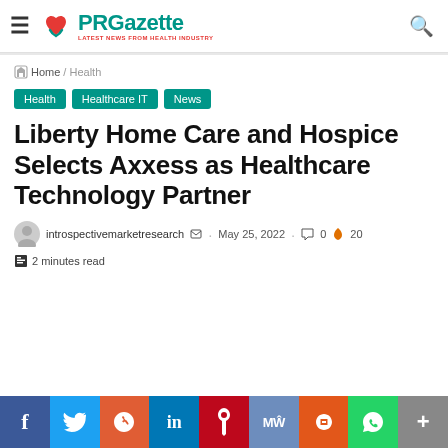PRGazette — LATEST NEWS FROM HEALTH INDUSTRY
Home / Health
Health   Healthcare IT   News
Liberty Home Care and Hospice Selects Axxess as Healthcare Technology Partner
introspectivemarketresearch · May 25, 2022 · 0 comments · 20 hot · 2 minutes read